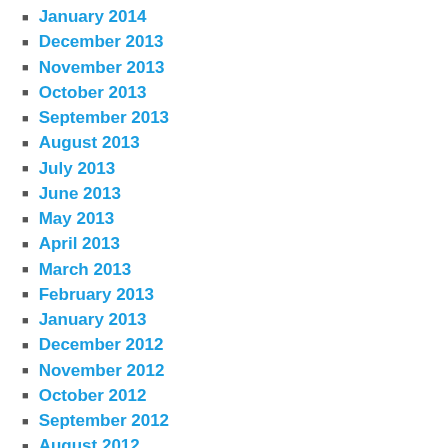January 2014
December 2013
November 2013
October 2013
September 2013
August 2013
July 2013
June 2013
May 2013
April 2013
March 2013
February 2013
January 2013
December 2012
November 2012
October 2012
September 2012
August 2012
July 2012
HINTS
Register